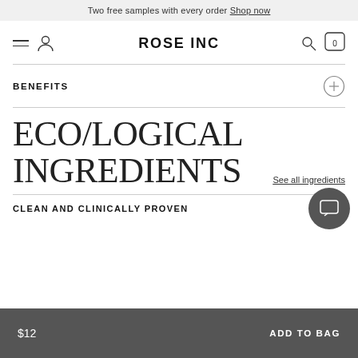Two free samples with every order Shop now
ROSE INC
BENEFITS
ECO/LOGICAL INGREDIENTS
See all ingredients
CLEAN AND CLINICALLY PROVEN
$12  ADD TO BAG